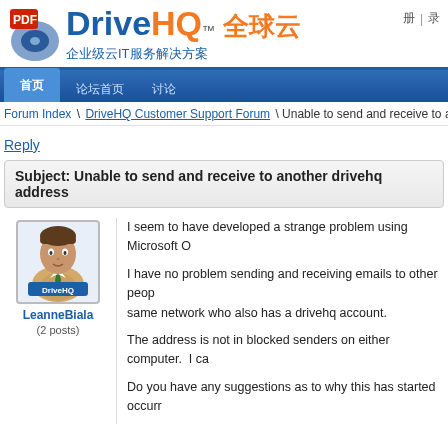[Figure (logo): DriveHQ logo with PDF icon, DriveHQ brand name in blue/orange, TM mark, Chinese text '全球云' in orange, subtitle '企业级云IT服务解决方案' in blue]
论坛 | 帮助
首页  论坛首页  讨论
Forum Index \ DriveHQ Customer Support Forum \ Unable to send and receive to an...
Reply
Subject: Unable to send and receive to another drivehq address
[Figure (illustration): DriveHQ generic user avatar icon showing a business person with tie]
LeanneBiala
(2 posts)
I seem to have developed a strange problem using Microsoft O...
I have no problem sending and receiving emails to other people... same network who also has a drivehq account.
The address is not in blocked senders on either computer.   I ca...
Do you have any suggestions as to why this has started occurr...